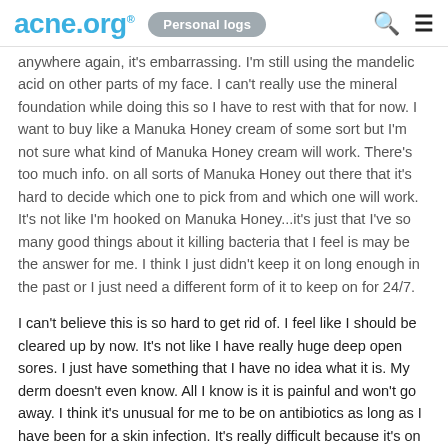acne.org® | Personal logs
anywhere again, it's embarrassing. I'm still using the mandelic acid on other parts of my face. I can't really use the mineral foundation while doing this so I have to rest with that for now. I want to buy like a Manuka Honey cream of some sort but I'm not sure what kind of Manuka Honey cream will work. There's too much info. on all sorts of Manuka Honey out there that it's hard to decide which one to pick from and which one will work. It's not like I'm hooked on Manuka Honey...it's just that I've so many good things about it killing bacteria that I feel is may be the answer for me. I think I just didn't keep it on long enough in the past or I just need a different form of it to keep on for 24/7.
I can't believe this is so hard to get rid of. I feel like I should be cleared up by now. It's not like I have really huge deep open sores. I just have something that I have no idea what it is. My derm doesn't even know. All I know is it is painful and won't go away. I think it's unusual for me to be on antibiotics as long as I have been for a skin infection. It's really difficult because it's on my face. Well, right now I'm trying the manuka honey 16+ i bought a while back. I'm really considering a product called medihoney. Just don't